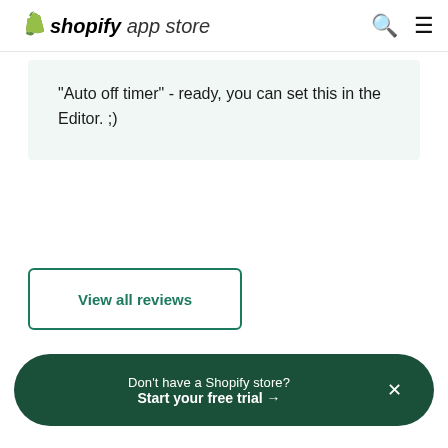shopify app store
"Auto off timer" - ready, you can set this in the Editor. ;)
View all reviews
Don't have a Shopify store? Start your free trial →